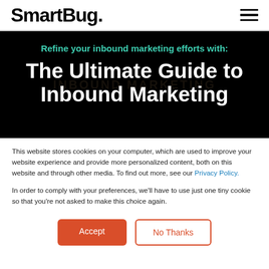SmartBug.
[Figure (illustration): Hero banner with black background showing subtitle 'Refine your inbound marketing efforts with:' in teal text and title 'The Ultimate Guide to Inbound Marketing' in bold white text]
This website stores cookies on your computer, which are used to improve your website experience and provide more personalized content, both on this website and through other media. To find out more, see our Privacy Policy.
In order to comply with your preferences, we'll have to use just one tiny cookie so that you're not asked to make this choice again.
Accept | No Thanks